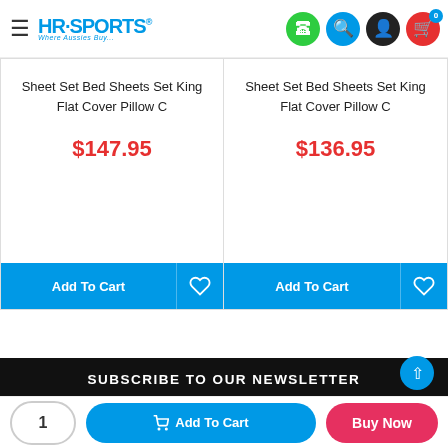HR-Sports - Where Aussies Buy...
Sheet Set Bed Sheets Set King Flat Cover Pillow C
$147.95
Add To Cart
Sheet Set Bed Sheets Set King Flat Cover Pillow C
$136.95
Add To Cart
SUBSCRIBE TO OUR NEWSLETTER
Email Address
1  Add To Cart  Buy Now